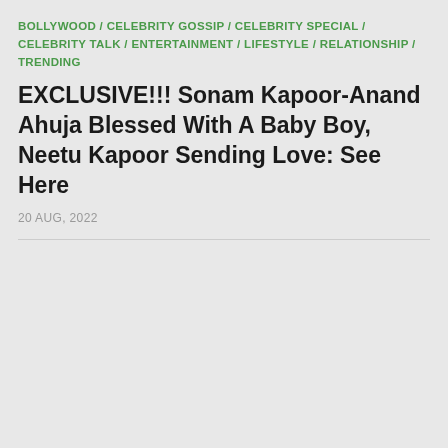BOLLYWOOD / CELEBRITY GOSSIP / CELEBRITY SPECIAL / CELEBRITY TALK / ENTERTAINMENT / LIFESTYLE / RELATIONSHIP / TRENDING
EXCLUSIVE!!! Sonam Kapoor-Anand Ahuja Blessed With A Baby Boy, Neetu Kapoor Sending Love: See Here
20 AUG, 2022